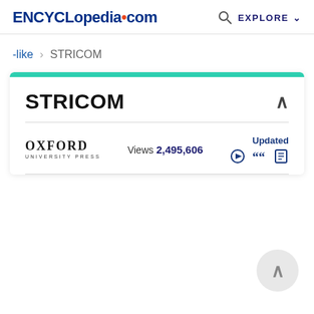ENCYCLopedia.com  🔍 EXPLORE
-like > STRICOM
STRICOM
[Figure (logo): Oxford University Press logo with text OXFORD UNIVERSITY PRESS]
Views 2,495,606
Updated